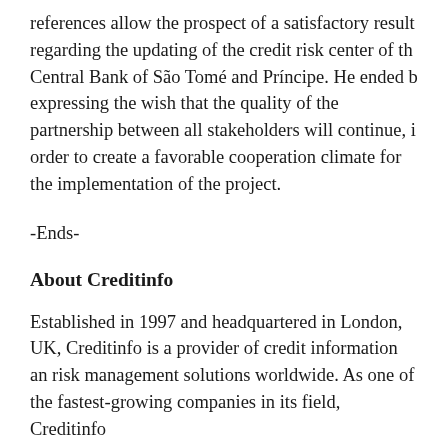references allow the prospect of a satisfactory result regarding the updating of the credit risk center of the Central Bank of São Tomé and Príncipe. He ended by expressing the wish that the quality of the partnership between all stakeholders will continue, in order to create a favorable cooperation climate for the implementation of the project.
-Ends-
About Creditinfo
Established in 1997 and headquartered in London, UK, Creditinfo is a provider of credit information and risk management solutions worldwide. As one of the fastest-growing companies in its field, Creditinfo